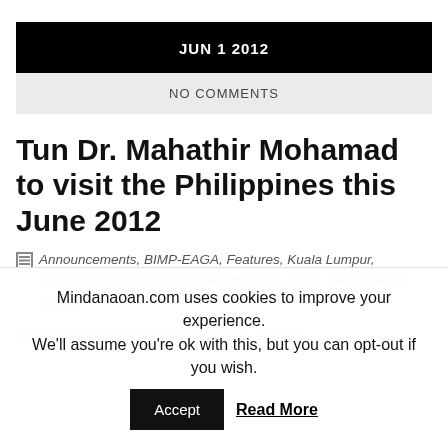JUN 1 2012
NO COMMENTS
Tun Dr. Mahathir Mohamad to visit the Philippines this June 2012
Announcements, BIMP-EAGA, Features, Kuala Lumpur, Malaysia, Mindanaoan Update, Musings, News, Personalities, Politics
Former Malaysian Prime Minister Tun Dr. Mahathir
Mindanaoan.com uses cookies to improve your experience. We'll assume you're ok with this, but you can opt-out if you wish.
Accept  Read More